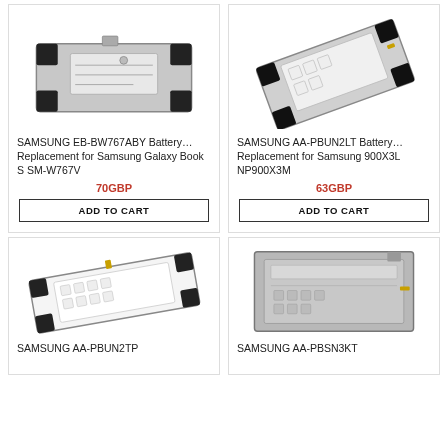[Figure (photo): SAMSUNG EB-BW767ABY Battery photo - rectangular silver battery with black corners]
SAMSUNG EB-BW767ABY Battery…
Replacement for Samsung Galaxy Book S SM-W767V
70GBP
ADD TO CART
[Figure (photo): SAMSUNG AA-PBUN2LT Battery photo - tilted battery with label and certification marks]
SAMSUNG AA-PBUN2LT Battery…
Replacement for Samsung 900X3L NP900X3M
63GBP
ADD TO CART
[Figure (photo): SAMSUNG AA-PBUN2TP Battery photo - white flat battery with certification labels]
SAMSUNG AA-PBUN2TP
[Figure (photo): SAMSUNG AA-PBSN3KT Battery photo - grey rectangular battery with labels]
SAMSUNG AA-PBSN3KT